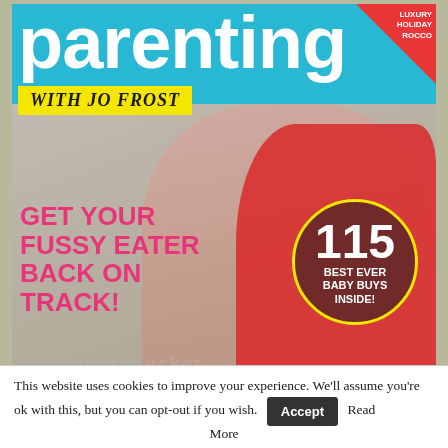[Figure (photo): Magazine cover of 'Parenting with Jo Frost' showing a smiling woman with a child on her back. The child wears a red polka-dot dress. Cover includes multiple article headlines. A Photobucket watermark is overlaid.]
This website uses cookies to improve your experience. We'll assume you're ok with this, but you can opt-out if you wish. Accept Read More